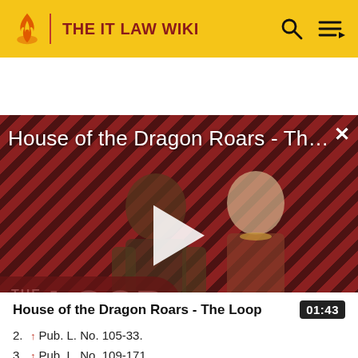THE IT LAW WIKI
[Figure (screenshot): Video thumbnail for 'House of the Dragon Roars - The L...' with a play button overlay, diagonal red and black stripe background, two characters visible, and 'THE LOOP' watermark in bottom left.]
House of the Dragon Roars - The Loop
01:43
2. ↑ Pub. L. No. 105-33.
3. ↑ Pub. L. No. 109-171.